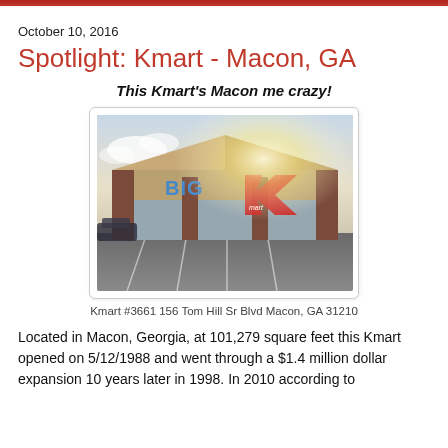October 10, 2016
Spotlight: Kmart - Macon, GA
This Kmart's Macon me crazy!
[Figure (photo): Exterior photo of Kmart Big K store #3661 at 156 Tom Hill Sr Blvd Macon, GA 31210, showing the building facade with BIG Kmart signage, parking lot in foreground, taken at dusk or bright sunlight.]
Kmart #3661 156 Tom Hill Sr Blvd Macon, GA 31210
Located in Macon, Georgia, at 101,279 square feet this Kmart opened on 5/12/1988 and went through a $1.4 million dollar expansion 10 years later in 1998. In 2010 according to